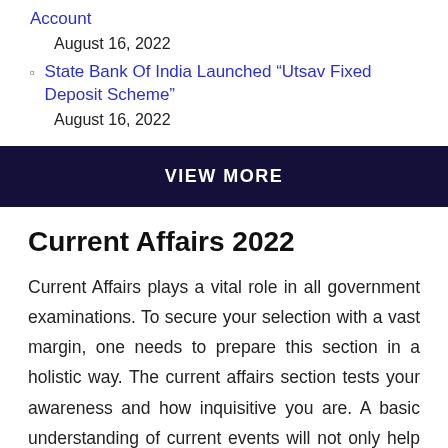Account
August 16, 2022
State Bank Of India Launched “Utsav Fixed Deposit Scheme”
August 16, 2022
VIEW MORE
Current Affairs 2022
Current Affairs plays a vital role in all government examinations. To secure your selection with a vast margin, one needs to prepare this section in a holistic way. The current affairs section tests your awareness and how inquisitive you are. A basic understanding of current events will not only help you to secure a job, but will also help you grow in your job later.